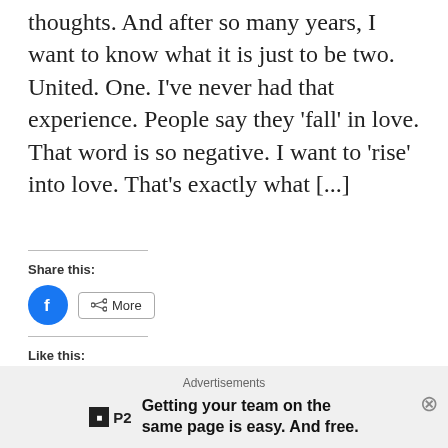thoughts. And after so many years, I want to know what it is just to be two. United. One. I’ve never had that experience. People say they ‘fall’ in love. That word is so negative. I want to ‘rise’ into love. That’s exactly what [...]
Share this:
[Figure (screenshot): Facebook share button (blue circle with f icon) and a More button with share icon]
Like this:
[Figure (screenshot): Like button with star icon, followed by 4 blogger avatars]
4 bloggers like this.
Advertisements
Getting your team on the same page is easy. And free.